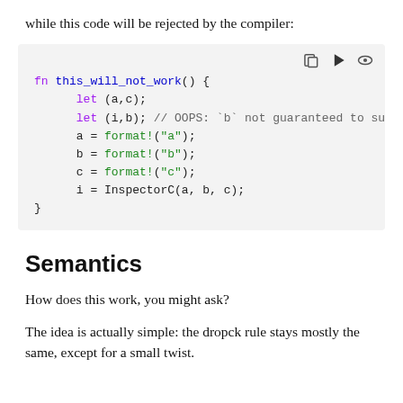while this code will be rejected by the compiler:
[Figure (screenshot): Code block showing Rust function this_will_not_work() with syntax highlighting. Contains: fn this_will_not_work() { let (a,c); let (i,b); // OOPS: `b` not guaranteed to su a = format!("a"); b = format!("b"); c = format!("c"); i = InspectorC(a, b, c); }]
Semantics
How does this work, you might ask?
The idea is actually simple: the dropck rule stays mostly the same, except for a small twist.